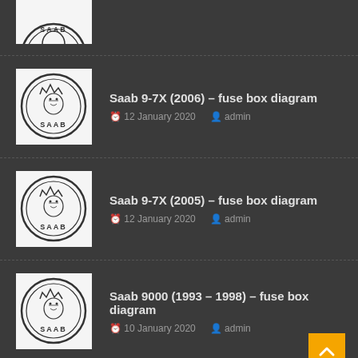[Figure (logo): SAAB logo (partial, top of page)]
Saab 9-7X (2006) – fuse box diagram
12 January 2020   admin
Saab 9-7X (2005) – fuse box diagram
12 January 2020   admin
Saab 9000 (1993 – 1998) – fuse box diagram
10 January 2020   admin
Saab 9-3x (2005 – 2006) – fuse box diagram (partial)